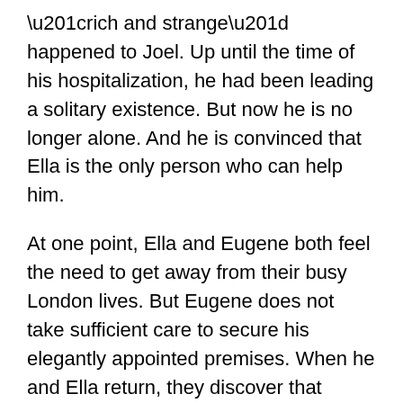“rich and strange” happened to Joel. Up until the time of his hospitalization, he had been leading a solitary existence. But now he is no longer alone. And he is convinced that Ella is the only person who can help him.
At one point, Ella and Eugene both feel the need to get away from their busy London lives. But Eugene does not take sufficient care to secure his elegantly appointed premises. When he and Ella return, they discover that there’s been a break-in. Some valuable objets d’art are missing; even more distressing, a gold necklace set with green stones, a carefully chosen gift to Ella, is also gone. They can’t imagine who could have perpetrated this outrage.
But we can…
His name is Lance Platt. He lives with his Uncle Gib… not